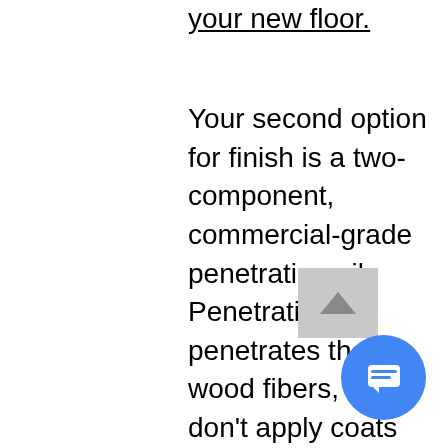your new floor.
Your second option for finish is a two-component, commercial-grade penetrating oil. Penetrating oil penetrates the wood fibers, so we don't apply coats of finish that form a film. In fact, we trowel on the finish, and then we spend the rest of the day buff, buff, buffing the excess oil off. Penetrating oil also referred to in our industry as a self-healing finish, penetrates and seals the wood fibers and protects the wood at the molecular level, and the advantage to penetrating oil is that repairs are much less invasive. For dog claw marks and other damage, we buff more oil on the repair area, which then repairs the wood fibers. To extend the life of the